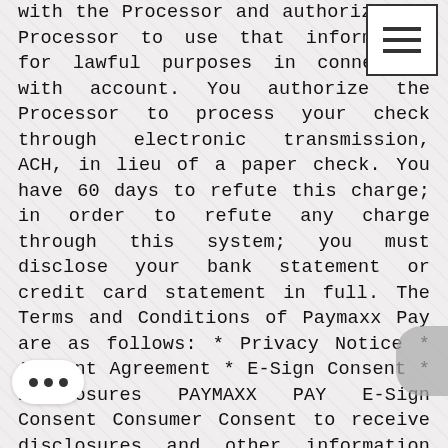with the Processor and authorize the Processor to use that information for lawful purposes in connection with account. You authorize the Processor to process your check through electronic transmission, ACH, in lieu of a paper check. You have 60 days to refute this charge; in order to refute any charge through this system; you must disclose your bank statement or credit card statement in full. The Terms and Conditions of Paymaxx Pay are as follows: * Privacy Notice * Account Agreement * E-Sign Consent * Disclosures PAYMAXX PAY E-Sign Consent Consumer Consent to receive disclosures and other information electronically. ****IMPORTANT NOTICE***** In order to complete this transaction online, the Processor must provide the consumer with certain disclosures required by law. The Processor can provide these disclosures to the consumer online only if the consumer consents. The consumer